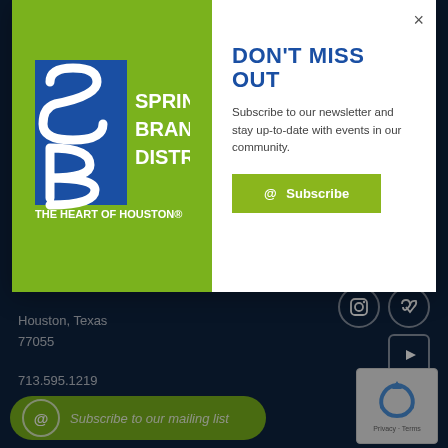[Figure (logo): Spring Branch District - The Heart of Houston logo, white on green background with blue SB icon]
DON'T MISS OUT
Subscribe to our newsletter and stay up-to-date with events in our community.
@ Subscribe
Houston, Texas
77055
713.595.1219
[Figure (infographic): Social media icons: Instagram, Vimeo, YouTube on dark navy background]
Subscribe to our mailing list
[Figure (other): reCAPTCHA widget with Privacy and Terms links]